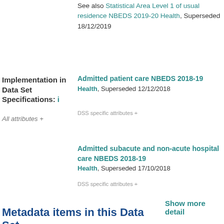See also Statistical Area Level 1 of usual residence NBEDS 2019-20 Health, Superseded 18/12/2019
Implementation in Data Set Specifications: i
All attributes +
Admitted patient care NBEDS 2018-19 Health, Superseded 12/12/2018
DSS specific attributes +
Admitted subacute and non-acute hospital care NBEDS 2018-19 Health, Superseded 17/10/2018
DSS specific attributes +
Show more detail
Metadata items in this Data Set